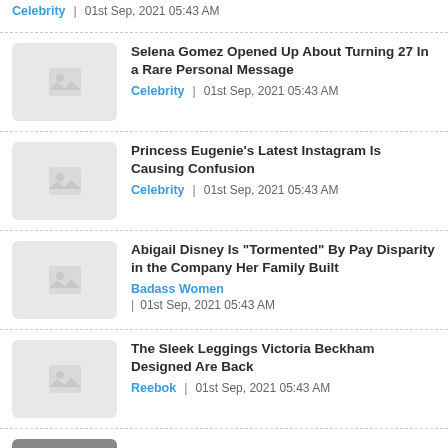Celebrity | 01st Sep, 2021 05:43 AM
Selena Gomez Opened Up About Turning 27 In a Rare Personal Message — Celebrity | 01st Sep, 2021 05:43 AM
Princess Eugenie's Latest Instagram Is Causing Confusion — Celebrity | 01st Sep, 2021 05:43 AM
Abigail Disney Is "Tormented" By Pay Disparity in the Company Her Family Built — Badass Women | 01st Sep, 2021 05:43 AM
The Sleek Leggings Victoria Beckham Designed Are Back — Reebok | 01st Sep, 2021 05:43 AM
Catherine Zeta-Jones...